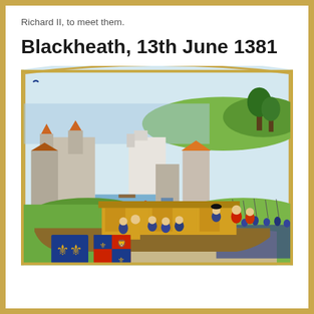Richard II, to meet them.
Blackheath, 13th June 1381
[Figure (illustration): Medieval illuminated manuscript illustration depicting a scene at Blackheath, 13th June 1381. Shows Richard II on a barge/boat in the foreground with courtiers and heraldic shields, a large castle complex in the background, and a crowd of armed peasants/rebels gathered on the right side. The scene is rich in color with blues, golds, and reds typical of medieval manuscript illumination.]